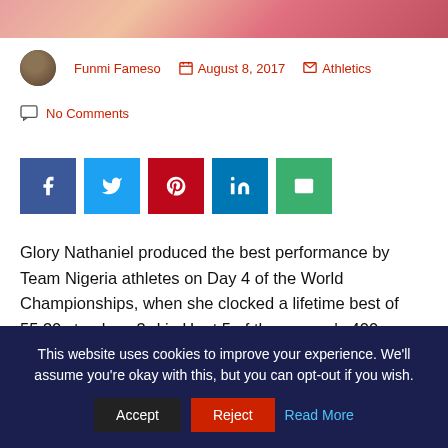[Figure (photo): Decorative banner image with gradient colors of pink, red, and orange]
Funmi Fameso  August 8, 2017  Athletics
No Comments
[Figure (infographic): Social sharing buttons: Facebook, Twitter, Pinterest, LinkedIn, Email]
Glory Nathaniel produced the best performance by Team Nigeria athletes on Day 4 of the World Championships, when she clocked a lifetime best of 55.30s to place 3rd in Heat 5 of the women's 400m Hurdles, which automatically qualified her
This website uses cookies to improve your experience. We'll assume you're okay with this, but you can opt-out if you wish.  Accept  Reject  Read More